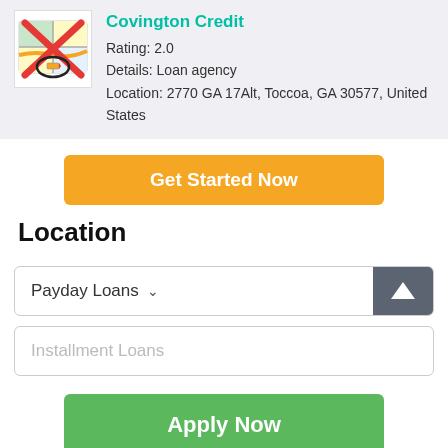[Figure (logo): Map icon with red X overlay and pencil circle]
Covington Credit
Rating: 2.0
Details: Loan agency
Location: 2770 GA 17Alt, Toccoa, GA 30577, United States
Get Started Now
Location
Payday Loans
Installment Loans
Apply Now
Applying does NOT affect your credit score!
No credit check to apply.